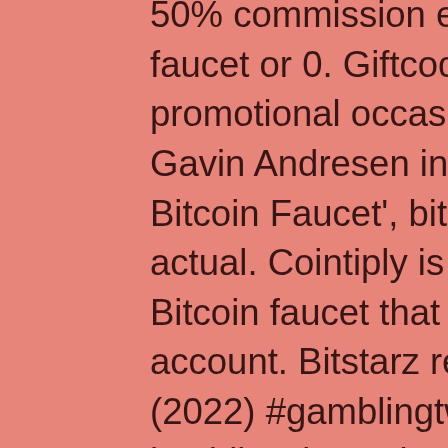50% commission every time your friends claim faucet or 0. Giftcode will be given to top users on promotional occasions. It was developed by Gavin Andresen in 2010, and it was called 'The Bitcoin Faucet', bitstarz.com profile bonuses actual. Cointiply is among the highest paying Bitcoin faucet that you will find, bitstarz my account. Bitstarz review: is bitstarz worth it? (2022) #gamblingtwitter. Although the platform hashlists is not in the past, it represents one of the best cloud mining solutions on the global scene. Read our in-depth bitstarz review as we take a look at its provably fair games, casino bonuses, and overall user experience. Detailed bitstarz review plus exclusive bonuses and freerolls. Bitstarz is probably the biggest online bitcoin casino, so websites like reddit have lots of members talking about this brand. Overall the redditors grade. En iyi online bitcoin casino gerçek para reddit, 4 gün önce. Bitstarz casino steals